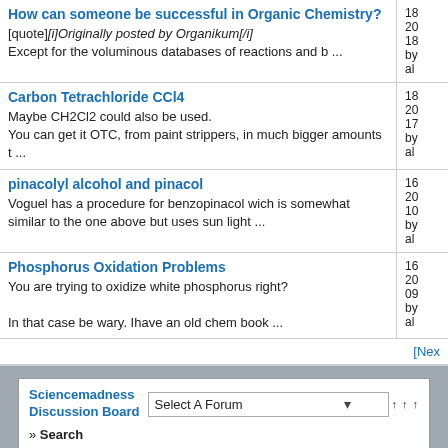| Topic | Info |
| --- | --- |
| How can someone be successful in Organic Chemistry?
[quote][i]Originally posted by Organikum[/i]
Except for the voluminous databases of reactions and b ... | 18
20
18
by
al |
| Carbon Tetrachloride CCl4
Maybe CH2Cl2 could also be used.
You can get it OTC, from paint strippers, in much bigger amounts t ... | 18
20
17
by
al |
| pinacolyl alcohol and pinacol
Voguel has a procedure for benzopinacol wich is somewhat similar to the one above but uses sun light ... | 16
20
10
by
al |
| Phosphorus Oxidation Problems
You are trying to oxidize white phosphorus right?

In that case be wary. Ihave an old chem book ... | 16
20
09
by
al |
[Next
Sciencemadness Discussion Board » Search
Select A Forum